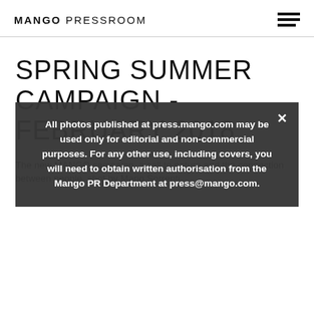MANGO PRESSROOM
SPRING SUMMER CAMPAIGN - FEBRUARY 2018
The new MANGO campaign, a call to nature and the connection between people, shot by Mario Sorrenti
All photos published at press.mango.com may be used only for editorial and non-commercial purposes. For any other use, including covers, you will need to obtain written authorisation from the Mango PR Department at press@mango.com.